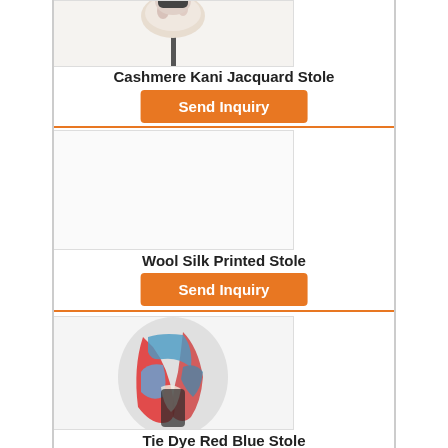[Figure (photo): Cashmere Kani Jacquard Stole displayed on a mannequin, partially cropped at top]
Cashmere Kani Jacquard Stole
Send Inquiry
[Figure (photo): Wool Silk Printed Stole - large white/blank image area]
Wool Silk Printed Stole
Send Inquiry
[Figure (photo): Tie Dye Red Blue Stole displayed on a mannequin, red and blue tie-dye pattern]
Tie Dye Red Blue Stole
Send Inquiry